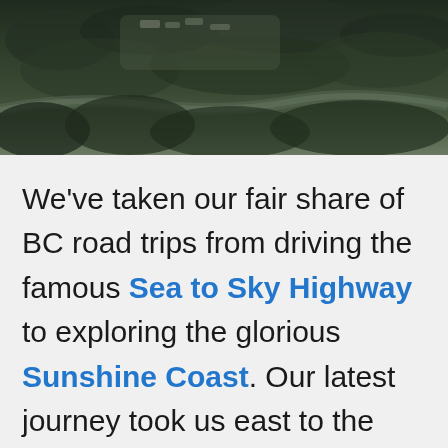[Figure (photo): Aerial photograph of a forested landscape in British Columbia showing treetops, a winding river or road, and a small town or settlement visible in the upper portion of the image.]
We've taken our fair share of BC road trips from driving the famous Sea to Sky Highway to exploring the glorious Sunshine Coast. Our latest journey took us east to the interior of British Columbia from Vancouver through Kelowna and